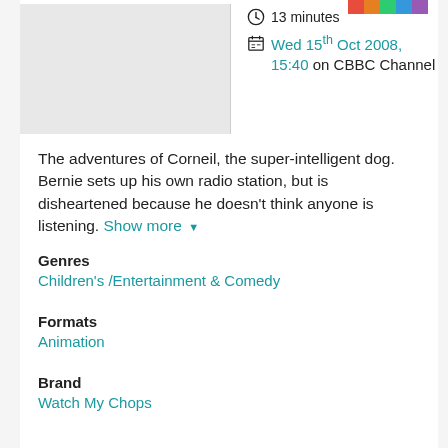13 minutes
Wed 15th Oct 2008, 15:40 on CBBC Channel
The adventures of Corneil, the super-intelligent dog. Bernie sets up his own radio station, but is disheartened because he doesn't think anyone is listening. Show more
Genres
Children's / Entertainment & Comedy
Formats
Animation
Brand
Watch My Chops